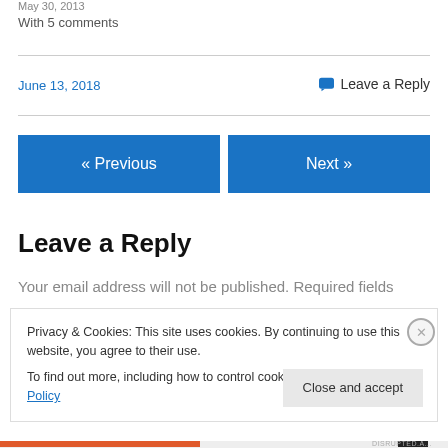May 30, 2013
With 5 comments
June 13, 2018
💬 Leave a Reply
« Previous
Next »
Leave a Reply
Your email address will not be published. Required fields
Privacy & Cookies: This site uses cookies. By continuing to use this website, you agree to their use.
To find out more, including how to control cookies, see here: Cookie Policy
Close and accept